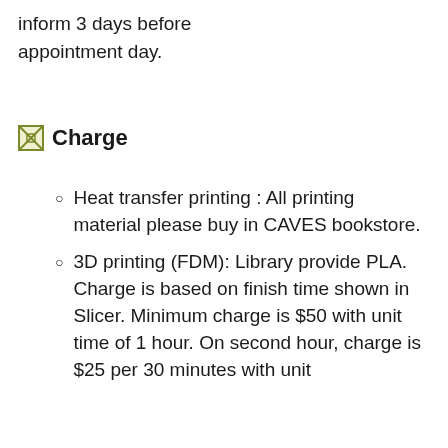inform 3 days before appointment day.
Charge
Heat transfer printing : All printing material please buy in CAVES bookstore.
3D printing (FDM): Library provide PLA. Charge is based on finish time shown in Slicer. Minimum charge is $50 with unit time of 1 hour. On second hour, charge is $25 per 30 minutes with unit